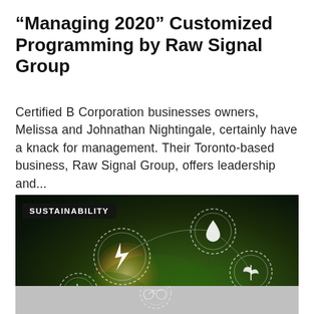“Managing 2020” Customized Programming by Raw Signal Group
Certified B Corporation businesses owners, Melissa and Johnathan Nightingale, certainly have a knack for management. Their Toronto-based business, Raw Signal Group, offers leadership and…
[Figure (photo): A dark-background image showing glowing green plant leaves with white circular icons overlaid representing sustainability concepts: a lightning bolt (energy), a water drop, a leaf/plant icon, and a wind turbine. A 'SUSTAINABILITY' label appears in the top-left corner. A 'CLOSE' button is in the bottom-right corner.]